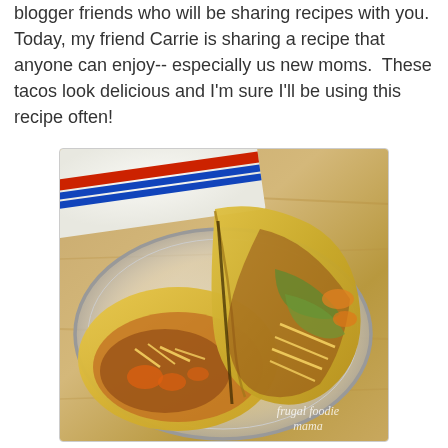blogger friends who will be sharing recipes with you. Today, my friend Carrie is sharing a recipe that anyone can enjoy-- especially us new moms. These tacos look delicious and I'm sure I'll be using this recipe often!
[Figure (photo): A photograph of two corn tacos filled with ground beef, shredded cheese, lettuce, and sauce, served on a white plate with a blue rim. A striped cloth (white with red and blue stripes) is visible in the background on a wood table. A watermark reads 'frugal foodie mama' in the bottom right corner.]